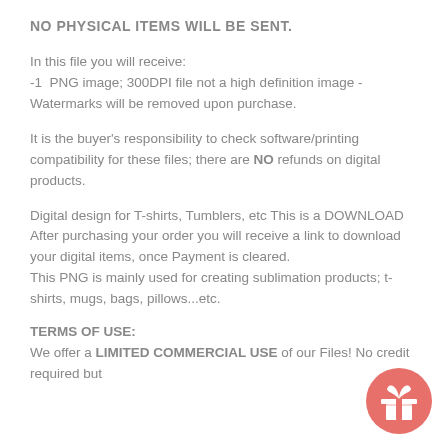NO PHYSICAL ITEMS WILL BE SENT.
In this file you will receive:
-1  PNG image; 300DPI file not a high definition image -Watermarks will be removed upon purchase.
It is the buyer's responsibility to check software/printing compatibility for these files; there are NO refunds on digital products.
Digital design for T-shirts, Tumblers, etc This is a DOWNLOAD
After purchasing your order you will receive a link to download your digital items, once Payment is cleared.
This PNG is mainly used for creating sublimation products; t-shirts, mugs, bags, pillows...etc.
TERMS OF USE:
We offer a LIMITED COMMERCIAL USE of our Files! No credit required but